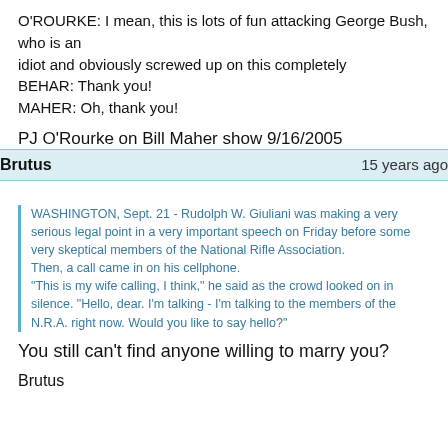O'ROURKE: I mean, this is lots of fun attacking George Bush, who is an idiot and obviously screwed up on this completely
BEHAR: Thank you!
MAHER: Oh, thank you!
PJ O'Rourke on Bill Maher show 9/16/2005
Brutus   15 years ago
WASHINGTON, Sept. 21 - Rudolph W. Giuliani was making a very serious legal point in a very important speech on Friday before some very skeptical members of the National Rifle Association. Then, a call came in on his cellphone. "This is my wife calling, I think," he said as the crowd looked on in silence. "Hello, dear. I'm talking - I'm talking to the members of the N.R.A. right now. Would you like to say hello?"
You still can't find anyone willing to marry you?
Brutus